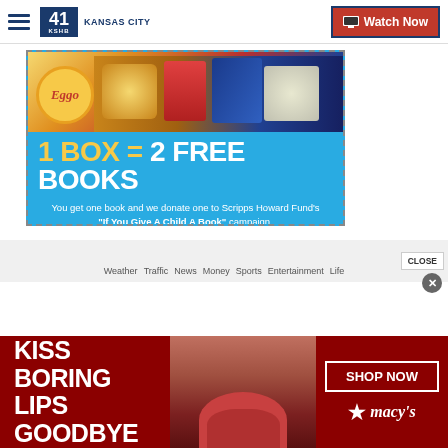41 KSHB KANSAS CITY — Watch Now
[Figure (illustration): Eggo waffles advertisement banner on blue background. Shows Eggo branded food products at top. Large text reads '1 BOX = 2 FREE BOOKS'. Subtitle: 'You get one book and we donate one to Scripps Howard Fund's "If You Give A Child A Book" campaign.']
Weather   Traffic   News   Money   Sports   Entertainment   Life
[Figure (illustration): Macy's advertisement banner on dark red background. Left: 'KISS BORING LIPS GOODBYE' in white bold text. Center: Photo of woman's face with red lipstick. Right: 'SHOP NOW' button and Macy's star logo.]